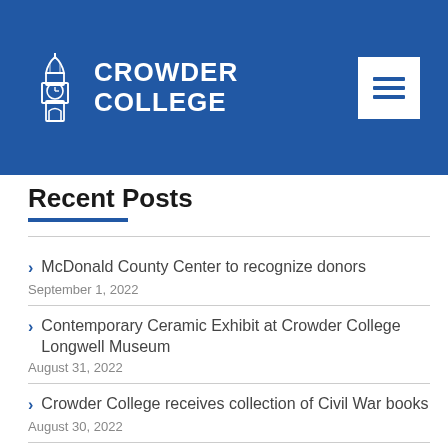[Figure (logo): Crowder College logo with clock tower icon and white text on blue background, plus hamburger menu button]
Recent Posts
McDonald County Center to recognize donors
September 1, 2022
Contemporary Ceramic Exhibit at Crowder College Longwell Museum
August 31, 2022
Crowder College receives collection of Civil War books
August 30, 2022